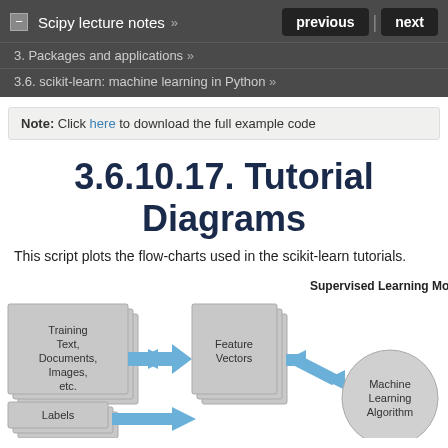Scipy lecture notes »   previous  next
3. Packages and applications »
3.6. scikit-learn: machine learning in Python »
Note: Click here to download the full example code
3.6.10.17. Tutorial Diagrams
This script plots the flow-charts used in the scikit-learn tutorials.
[Figure (flowchart): Supervised Learning Model flowchart showing Training Text, Documents, Images, etc. → Feature Vectors → Machine Learning Algorithm, and Labels → Machine Learning Algorithm]